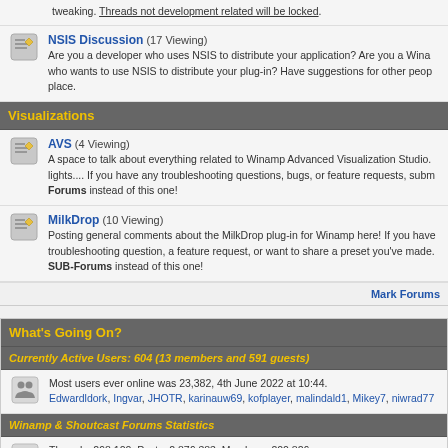tweaking. Threads not development related will be locked.
NSIS Discussion (17 Viewing) Are you a developer who uses NSIS to distribute your application? Are you a Winamp developer who wants to use NSIS to distribute your plug-in? Have suggestions for other people? This is the place.
Visualizations
AVS (4 Viewing) A space to talk about everything related to Winamp Advanced Visualization Studio. lights.... If you have any troubleshooting questions, bugs, or feature requests, submit them in the SUB-Forums instead of this one!
MilkDrop (10 Viewing) Posting general comments about the MilkDrop plug-in for Winamp here! If you have a troubleshooting question, a feature request, or want to share a preset you've made. SUB-Forums instead of this one!
Mark Forums
What's Going On?
Currently Active Users: 604 (13 members and 591 guests)
Most users ever online was 23,382, 4th June 2022 at 10:44. Edwardldork, Ingvar, JHOTR, karinauw69, kofplayer, malindald1, Mikey7, niwrad77
Winamp & Shoutcast Forums Statistics
Threads: 298,100, Posts: 2,876,383, Members: 200,826 Welcome to our newest member, JHOTR